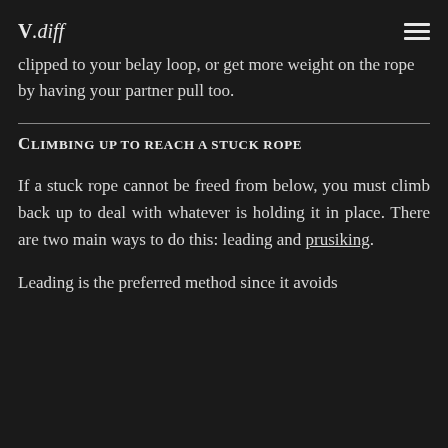V.diff
clipped to your belay loop, or get more weight on the rope by having your partner pull too.
Climbing up to reach a stuck rope
If a stuck rope cannot be freed from below, you must climb back up to deal with whatever is holding it in place. There are two main ways to do this: leading and prusiking.
Leading is the preferred method since it avoids